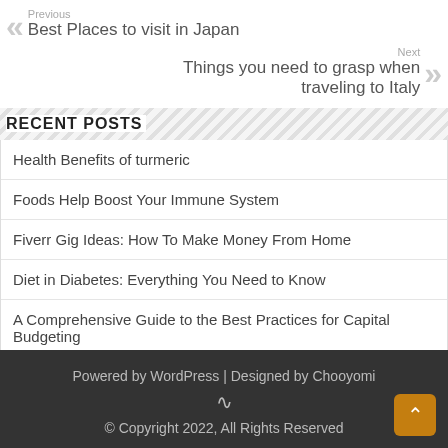Previous
Best Places to visit in Japan
Next
Things you need to grasp when traveling to Italy
RECENT POSTS
Health Benefits of turmeric
Foods Help Boost Your Immune System
Fiverr Gig Ideas: How To Make Money From Home
Diet in Diabetes: Everything You Need to Know
A Comprehensive Guide to the Best Practices for Capital Budgeting
Powered by WordPress | Designed by Chooyomi
© Copyright 2022, All Rights Reserved